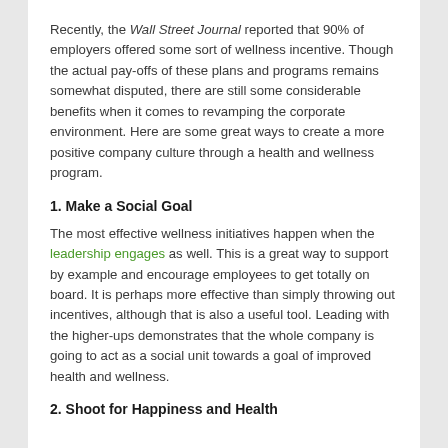Recently, the Wall Street Journal reported that 90% of employers offered some sort of wellness incentive. Though the actual pay-offs of these plans and programs remains somewhat disputed, there are still some considerable benefits when it comes to revamping the corporate environment. Here are some great ways to create a more positive company culture through a health and wellness program.
1. Make a Social Goal
The most effective wellness initiatives happen when the leadership engages as well. This is a great way to support by example and encourage employees to get totally on board. It is perhaps more effective than simply throwing out incentives, although that is also a useful tool. Leading with the higher-ups demonstrates that the whole company is going to act as a social unit towards a goal of improved health and wellness.
2. Shoot for Happiness and Health